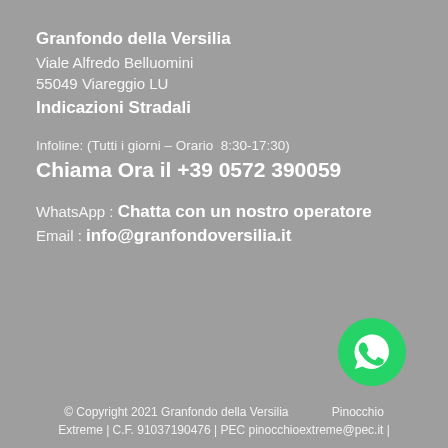Granfondo della Versilia
Viale Alfredo Belluomini
55049 Viareggio LU
Indicazioni Stradali
Infoline: (Tutti i giorni – Orario  8:30-17:30)
Chiama Ora il +39 0572 390059
WhatsApp : Chatta con un nostro operatore
Email : info@granfondoversilia.it
[Figure (logo): WhatsApp green circular logo icon]
© Copyright 2021 Granfondo della Versilia e di Pinocchio Extreme | C.F. 91037190476 | PEC pinocchioextreme@pec.it |